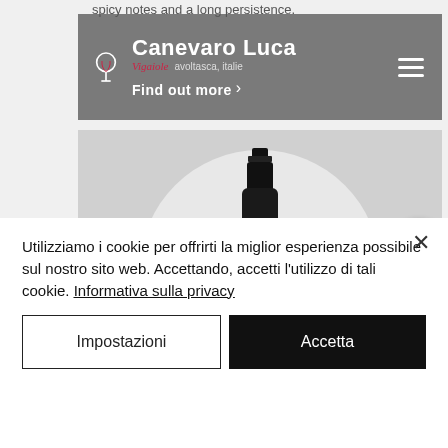spicy notes and a long persistence.
[Figure (logo): Canevaro Luca Vigaiole winery logo and header bar with wine glass icon, brand name, subtitle 'Vigaiole avoltasca, italie', 'Find out more' link, and hamburger menu icon on grey background]
[Figure (photo): Dark wine bottle of Canevaro Luca on a light grey circular background within a grey panel]
[Figure (logo): Circular Vitae magazine badge with V logo, white background, burgundy and teal border ring]
Utilizziamo i cookie per offrirti la miglior esperienza possibile sul nostro sito web. Accettando, accetti l'utilizzo di tali cookie. Informativa sulla privacy
Impostazioni
Accetta